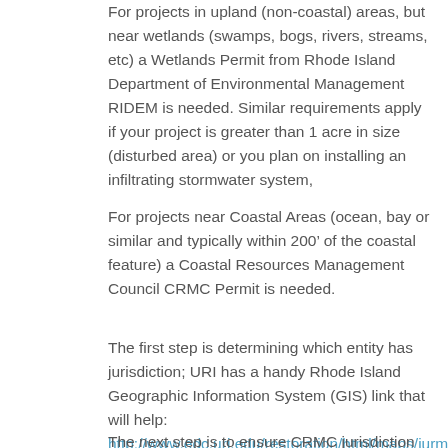For projects in upland (non-coastal) areas, but near wetlands (swamps, bogs, rivers, streams, etc) a Wetlands Permit from Rhode Island Department of Environmental Management RIDEM is needed. Similar requirements apply if your project is greater than 1 acre in size (disturbed area) or you plan on installing an infiltrating stormwater system,
For projects near Coastal Areas (ocean, bay or similar and typically within 200’ of the coastal feature) a Coastal Resources Management Council CRMC Permit is needed.
The first step is determining which entity has jurisdiction; URI has a handy Rhode Island Geographic Information System (GIS) link that will help: http://www.edc.uri.edu/restoration/html/maps/jurmap.htm
The next step is to ensure CRMC jurisdiction and...